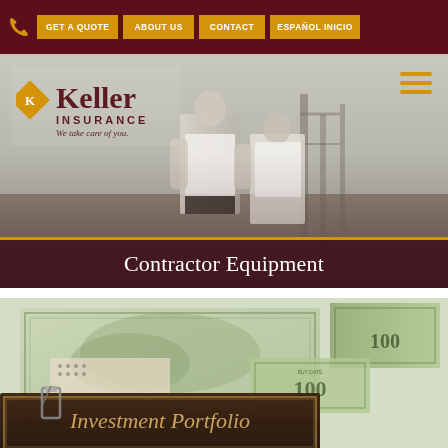GET A QUOTE | ABOUT US | CONTACT | ESPAÑOL INICIO
[Figure (photo): Hero image showing construction workers/contractors outdoors with Keller Insurance logo overlay. Bottom bar reads 'Contractor Equipment' on dark maroon background with gold border.]
Contractor Equipment
[Figure (photo): Close-up photo of financial documents, bonds, $100 bills, and an 'Investment Portfolio' leather binder with a binder clip, suggesting financial/investment insurance content.]